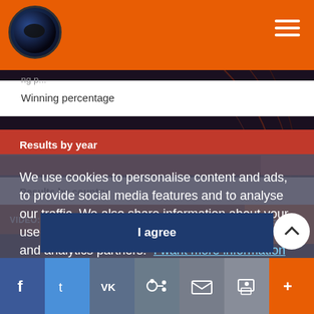Winning percentage
Results by year
Results by country
VIDEO: SOUND CLIP AN: HOLD ME NOW (IRELAND 1987)
We use cookies to personalise content and ads, to provide social media features and to analyse our traffic. We also share information about your use of our site with our social media, advertising and analytics partners.  I want more information
I agree
f  t  VK  +  mail  print  +